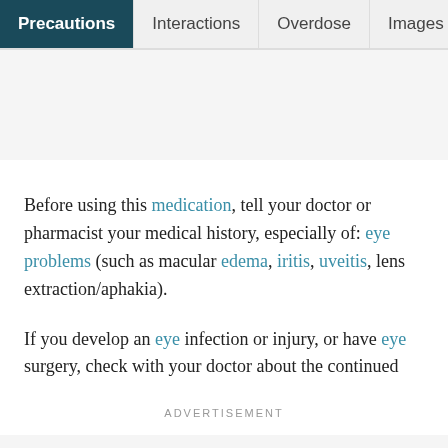Precautions | Interactions | Overdose | Images
Before using this medication, tell your doctor or pharmacist your medical history, especially of: eye problems (such as macular edema, iritis, uveitis, lens extraction/aphakia).
If you develop an eye infection or injury, or have eye surgery, check with your doctor about the continued
ADVERTISEMENT